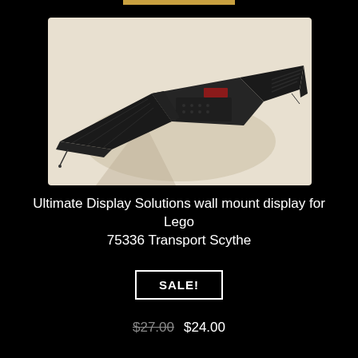[Figure (photo): A LEGO model of the 75336 Inquisitor Transport Scythe spacecraft displayed against a light beige wall, mounted on the wall. The model is predominantly dark grey/black with a distinctive swept-wing design and a small red accent piece visible on top.]
Ultimate Display Solutions wall mount display for Lego 75336 Transport Scythe
SALE!
$27.00  $24.00